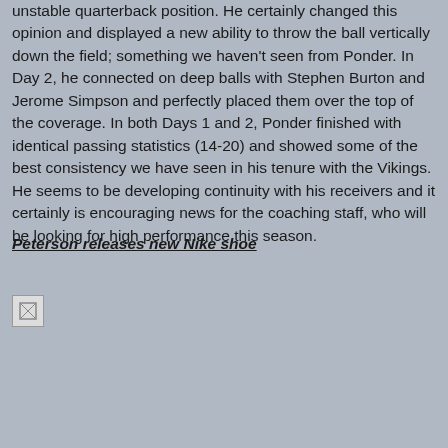unstable quarterback position. He certainly changed this opinion and displayed a new ability to throw the ball vertically down the field; something we haven't seen from Ponder. In Day 2, he connected on deep balls with Stephen Burton and Jerome Simpson and perfectly placed them over the top of the coverage. In both Days 1 and 2, Ponder finished with identical passing statistics (14-20) and showed some of the best consistency we have seen in his tenure with the Vikings. He seems to be developing continuity with his receivers and it certainly is encouraging news for the coaching staff, who will be looking for high performance this season.
Peterson releases new Nike shoe
[Figure (photo): Broken image placeholder (small icon, approximately 30x30px)]